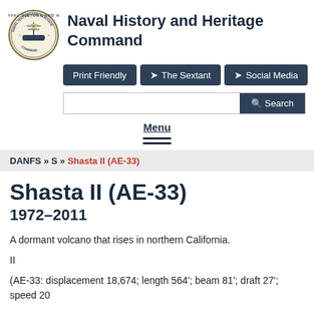Naval History and Heritage Command
[Figure (logo): Naval History and Heritage Command circular seal with ship illustration]
Print Friendly | The Sextant | Social Media | Search
Menu
DANFS » S » Shasta II (AE-33)
Shasta II (AE-33)
1972–2011
A dormant volcano that rises in northern California.
II
(AE-33: displacement 18,674; length 564'; beam 81'; draft 27'; speed 20